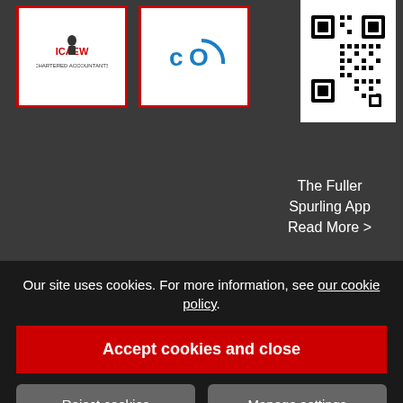[Figure (logo): ICAEW logo in white box with red border]
[Figure (logo): CIO logo (blue arc with letters 'c' and 'O') in white box with red border]
[Figure (other): QR code in white box]
The Fuller Spurling App
Read More >
Home
About Us
[Figure (other): Location pin icon]
Fuller Harvey Ltd
Registered Office:
Mill House, 58 Guildford
... Surrey,
Registered in England
Our site uses cookies. For more information, see our cookie policy.
Accept cookies and close
Reject cookies
Manage settings